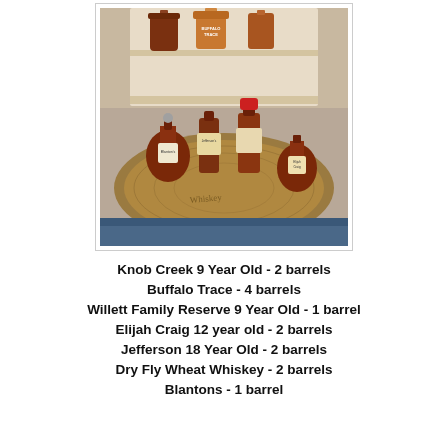[Figure (photo): Photo of various bourbon whiskey bottles displayed on a wooden barrel top, with a wooden shelf in the background holding additional bottles including Buffalo Trace and others. Bottles visible include Jefferson's, Elijah Craig, Blanton's, and more.]
Knob Creek 9 Year Old - 2 barrels
Buffalo Trace - 4 barrels
Willett Family Reserve 9 Year Old - 1 barrel
Elijah Craig 12 year old - 2 barrels
Jefferson 18 Year Old - 2 barrels
Dry Fly Wheat Whiskey -  2 barrels
Blantons - 1 barrel